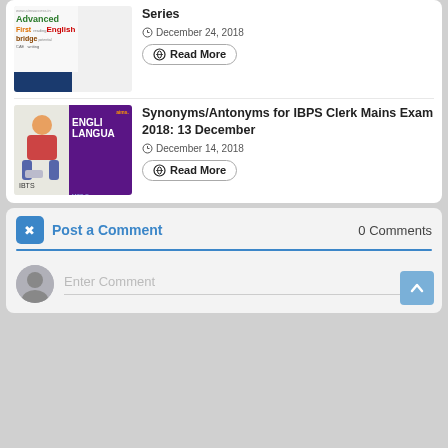[Figure (illustration): Thumbnail image for Advanced English reading series - AIM Success website word cloud and logo]
Series
December 24, 2018
Read More
[Figure (illustration): Thumbnail image for English Language MCQ book cover with IBTS branding]
Synonyms/Antonyms for IBPS Clerk Mains Exam 2018: 13 December
December 14, 2018
Read More
Post a Comment
0 Comments
Enter Comment